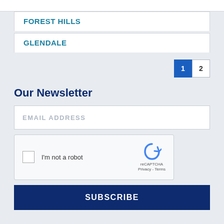FOREST HILLS
GLENDALE
1  2
Our Newsletter
EMAIL ADDRESS
[Figure (other): reCAPTCHA widget with checkbox, 'I'm not a robot' label, and reCAPTCHA logo with Privacy and Terms links]
SUBSCRIBE